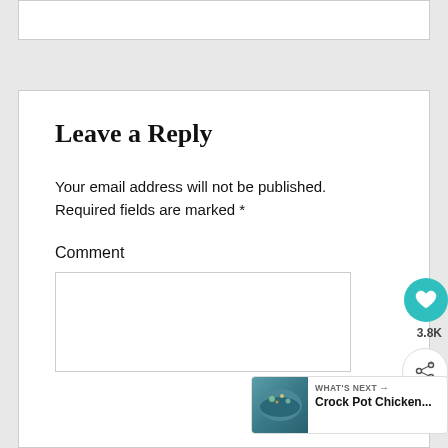Leave a Reply
Your email address will not be published. Required fields are marked *
Comment
[Figure (screenshot): Heart/like button showing 3.8K likes and a share button overlay on the right side of the page]
[Figure (screenshot): What's Next widget showing a Crock Pot Chicken... recipe with a bowl image thumbnail]